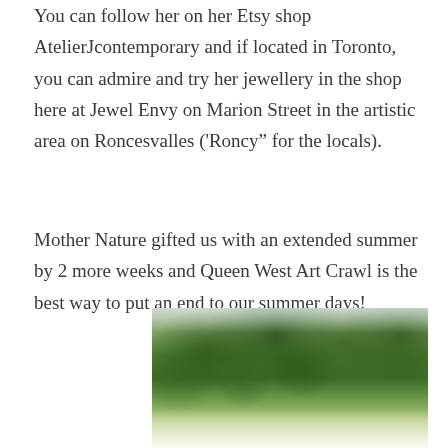You can follow her on her Etsy shop AtelierJcontemporary and if located in Toronto, you can admire and try her jewellery in the shop here at Jewel Envy on Marion Street in the artistic area on Roncesvalles ('Roncy" for the locals).
Mother Nature gifted us with an extended summer by 2 more weeks and Queen West Art Crawl is the best way to put an end to our summer days!
[Figure (photo): Outdoor scene showing trees with lush green canopy, likely a street or park setting in summer]